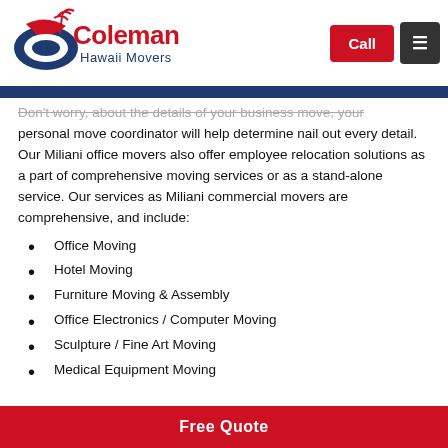[Figure (logo): Coleman Hawaii Movers logo with eagle/wave graphic and red/blue text]
Don't worry, about the details of your business move, your personal move coordinator will help determine nail out every detail. Our Miliani office movers also offer employee relocation solutions as a part of comprehensive moving services or as a stand-alone service. Our services as Miliani commercial movers are comprehensive, and include:
Office Moving
Hotel Moving
Furniture Moving & Assembly
Office Electronics / Computer Moving
Sculpture / Fine Art Moving
Medical Equipment Moving
Free Quote